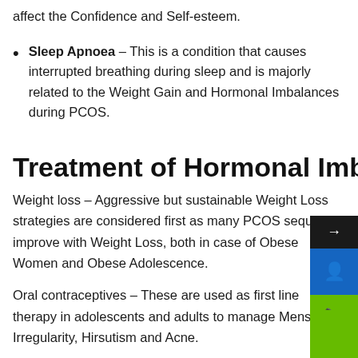affect the Confidence and Self-esteem.
Sleep Apnoea – This is a condition that causes interrupted breathing during sleep and is majorly related to the Weight Gain and Hormonal Imbalances during PCOS.
Treatment of Hormonal Imbalance
Weight loss – Aggressive but sustainable Weight Loss strategies are considered first as many PCOS sequelae improve with Weight Loss, both in case of Obese Women and Obese Adolescence.
Oral contraceptives – These are used as first line therapy in adolescents and adults to manage Menstrual Irregularity, Hirsutism and Acne.